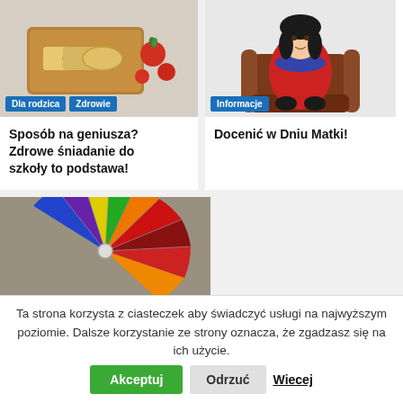[Figure (photo): Photo of rolled crepes/spring rolls on a wooden board with tomatoes]
[Figure (illustration): Cartoon illustration of a child sitting in a cozy armchair]
Sposób na geniusza? Zdrowe śniadanie do szkoły to podstawa!
Docenić w Dniu Matki!
[Figure (photo): Colorful parachute toy on the ground viewed from above]
Ta strona korzysta z ciasteczek aby świadczyć usługi na najwyższym poziomie. Dalsze korzystanie ze strony oznacza, że zgadzasz się na ich użycie.